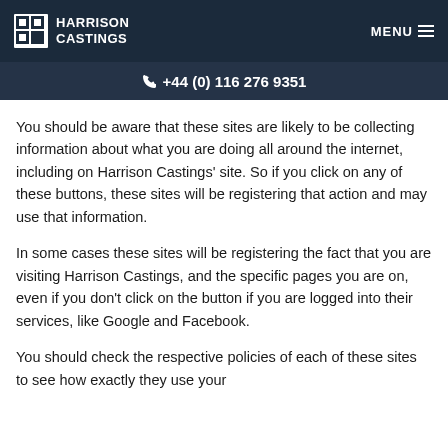HARRISON CASTINGS | MENU
+44 (0) 116 276 9351
You should be aware that these sites are likely to be collecting information about what you are doing all around the internet, including on Harrison Castings' site. So if you click on any of these buttons, these sites will be registering that action and may use that information.
In some cases these sites will be registering the fact that you are visiting Harrison Castings, and the specific pages you are on, even if you don't click on the button if you are logged into their services, like Google and Facebook.
You should check the respective policies of each of these sites to see how exactly they use your...